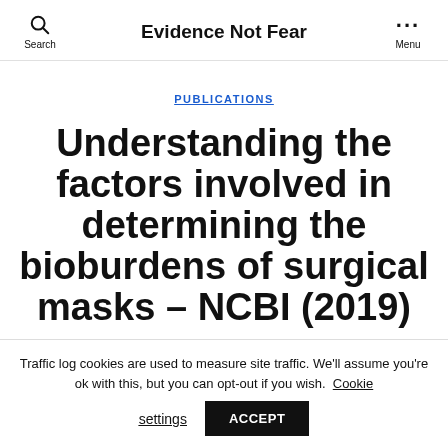Evidence Not Fear
PUBLICATIONS
Understanding the factors involved in determining the bioburdens of surgical masks – NCBI (2019)
Traffic log cookies are used to measure site traffic. We'll assume you're ok with this, but you can opt-out if you wish. Cookie settings ACCEPT